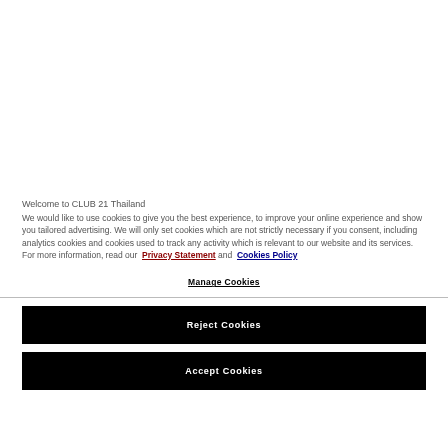[Figure (screenshot): White background area representing website content above the cookie consent dialog]
Welcome to CLUB 21 Thailand
We would like to use cookies to give you the best experience, to improve your online experience and show you tailored advertising. We will only set cookies which are not strictly necessary if you consent, including analytics cookies and cookies used to track any activity which is relevant to our website and its services. For more information, read our Privacy Statement and Cookies Policy
Manage Cookies
Reject Cookies
Accept Cookies